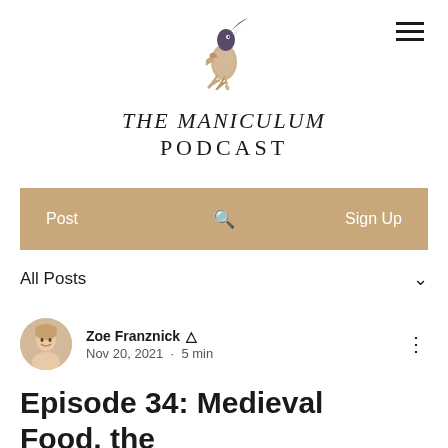[Figure (logo): The Maniculum Podcast logo — a stylized bird/quill illustration in purple and gold tones]
THE MANICULUM PODCAST
Post   🔍   Sign Up
All Posts
Zoe Franznick   Nov 20, 2021 · 5 min
Episode 34: Medieval Food, the